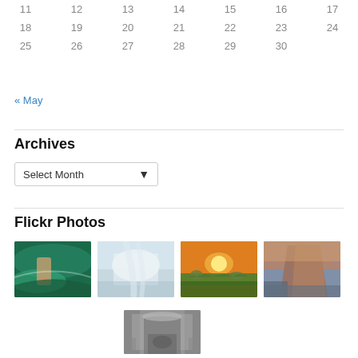| 11 | 12 | 13 | 14 | 15 | 16 | 17 |
| 18 | 19 | 20 | 21 | 22 | 23 | 24 |
| 25 | 26 | 27 | 28 | 29 | 30 |  |
« May
Archives
Select Month
Flickr Photos
[Figure (photo): Surfing wave with hand visible, green/blue tones]
[Figure (photo): Misty waterfall, soft blue-grey tones]
[Figure (photo): Sunflower field at sunset with dramatic orange sky]
[Figure (photo): Mountain rock face at dusk, warm orange glow]
[Figure (photo): Black and white photo of people inside a large columned hall]